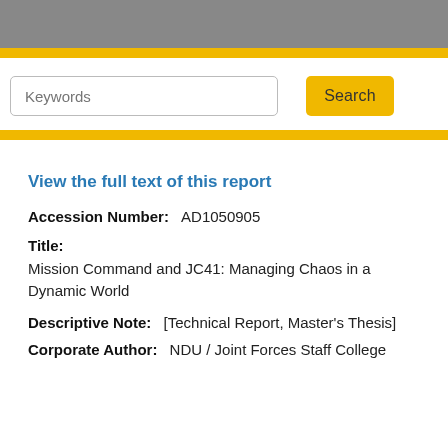Keywords [search input] Search [button]
View the full text of this report
Accession Number: AD1050905
Title:
Mission Command and JC41: Managing Chaos in a Dynamic World
Descriptive Note: [Technical Report, Master's Thesis]
Corporate Author: NDU / Joint Forces Staff College